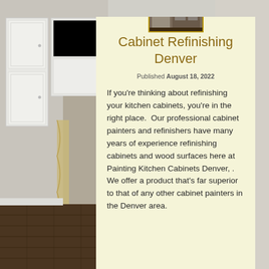[Figure (photo): Kitchen interior with white cabinets and dark wood floor, visible on the left side of the page as background]
[Figure (photo): Small thumbnail photo of kitchen/cabinet interior at the top of the content card]
Cabinet Refinishing Denver
Published August 18, 2022
If you're thinking about refinishing your kitchen cabinets, you're in the right place.  Our professional cabinet painters and refinishers have many years of experience refinishing cabinets and wood surfaces here at Painting Kitchen Cabinets Denver, . We offer a product that's far superior to that of any other cabinet painters in the Denver area.